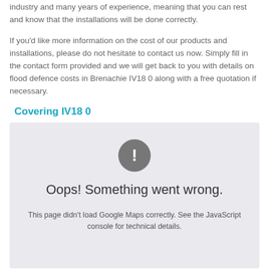industry and many years of experience, meaning that you can rest and know that the installations will be done correctly.
If you'd like more information on the cost of our products and installations, please do not hesitate to contact us now. Simply fill in the contact form provided and we will get back to you with details on flood defence costs in Brenachie IV18 0 along with a free quotation if necessary.
Covering IV18 0
[Figure (other): Google Maps error placeholder showing a grey box with an exclamation mark icon and the text 'Oops! Something went wrong.' and 'This page didn't load Google Maps correctly. See the JavaScript console for technical details.']